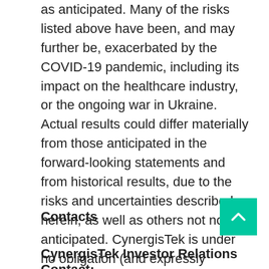as anticipated. Many of the risks listed above have been, and may further be, exacerbated by the COVID-19 pandemic, including its impact on the healthcare industry, or the ongoing war in Ukraine. Actual results could differ materially from those anticipated in the forward-looking statements and from historical results, due to the risks and uncertainties described herein, as well as others not now anticipated. CynergisTek is under no obligation (and expressly disclaims any such obligation) to update or alter its forward-looking statements whether as a result of new information, future events or otherwise.
Contacts
CynergisTek Investor Relations Contact: